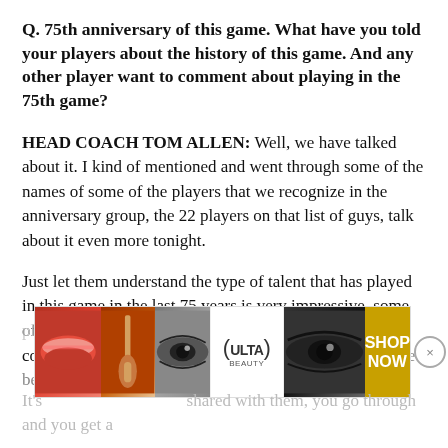Q. 75th anniversary of this game. What have you told your players about the history of this game. And any other player want to comment about playing in the 75th game?
HEAD COACH TOM ALLEN: Well, we have talked about it. I kind of mentioned and went through some of the names of some of the players that we recognize in the anniversary group, the 22 players on that list of guys, talk about it even more tonight.
Just let them understand the type of talent that has played in this game in the last 75 years is very impressive, some of the very best future Hall of Famers in the NFL, collegiate Hall of Famers, All-Americans and some of the best that have ever played the game.
[Figure (photo): ULTA Beauty advertisement banner showing makeup product imagery (lips, brush, eyes) with ULTA logo and SHOP NOW call to action]
It's shared with them, you go through and you get a